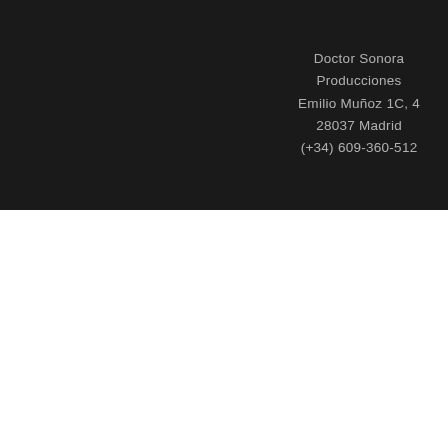Doctor Sonora Producciones
Emilio Muñoz 1C, 4
28037 Madrid
(+34) 609-360-512
, .
Copyright © Doctor Sonora.
Doctor Sonora Producciones C/ Emilio Muñoz 1C 4, Madrid (España)